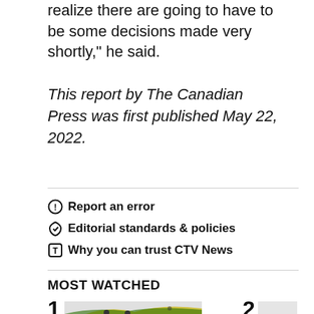realize there are going to have to be some decisions made very shortly," he said.
This report by The Canadian Press was first published May 22, 2022.
Report an error
Editorial standards & policies
Why you can trust CTV News
MOST WATCHED
[Figure (photo): Thumbnail image 1 - curling or sports related image with green and yellow colors]
[Figure (photo): Thumbnail image 2 - partially visible image]